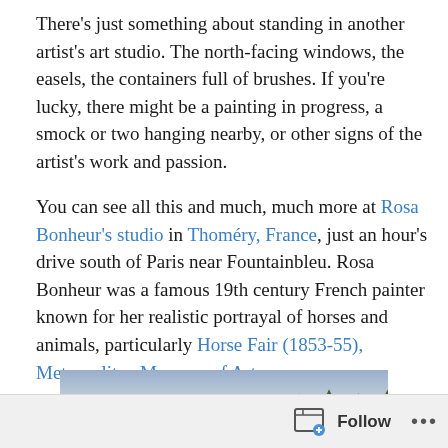There's just something about standing in another artist's art studio. The north-facing windows, the easels, the containers full of brushes. If you're lucky, there might be a painting in progress, a smock or two hanging nearby, or other signs of the artist's work and passion.

You can see all this and much, much more at Rosa Bonheur's studio in Thoméry, France, just an hour's drive south of Paris near Fountainbleu. Rosa Bonheur was a famous 19th century French painter known for her realistic portrayal of horses and animals, particularly Horse Fair (1853-55), Metropolitan Museum of Art.
[Figure (illustration): A painting showing horses and animals in a landscape with trees and cloudy sky, partially visible — appears to be Rosa Bonheur's Horse Fair (1853-55).]
Follow ···